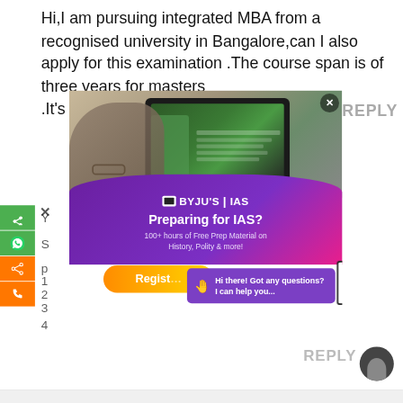Hi,I am pursuing integrated MBA from a recognised university in Bangalore,can I also apply for this examination .The course span is of three years for masters
.It's a dual degree course.
[Figure (screenshot): BYJU'S IAS advertisement overlay showing a person studying on a tablet, with purple banner 'Preparing for IAS? 100+ hours of Free Prep Material on History, Polity & more!' and a Register button. A chat popup reads 'Hi there! Got any questions? I can help you...' An upload/share icon and a REPLY button are also visible. Social share sidebar on the left with WhatsApp, share, and phone icons.]